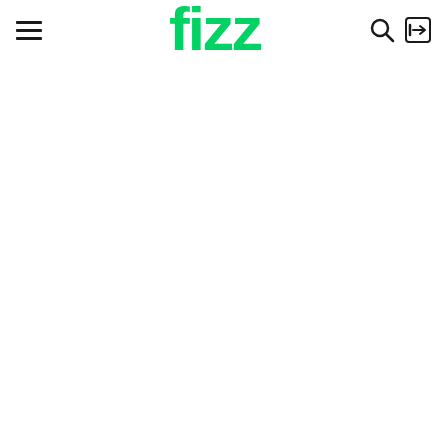Fizz navigation header with hamburger menu, Fizz logo, search icon, and login icon